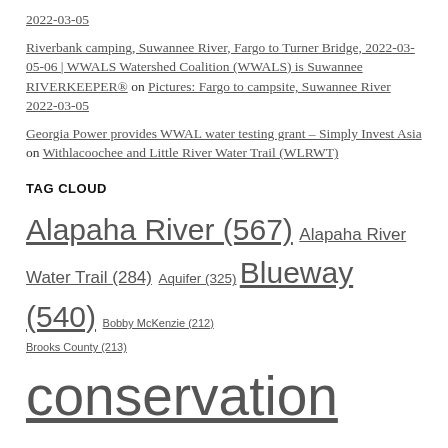2022-03-05
Riverbank camping, Suwannee River, Fargo to Turner Bridge, 2022-03-05-06 | WWALS Watershed Coalition (WWALS) is Suwannee RIVERKEEPER® on Pictures: Fargo to campsite, Suwannee River 2022-03-05
Georgia Power provides WWAL water testing grant – Simply Invest Asia on Withlacoochee and Little River Water Trail (WLRWT)
TAG CLOUD
Alapaha River (567) Alapaha River Water Trail (284) Aquifer (325) Blueway (540) Bobby McKenzie (212) Brooks County (213) conservation (3022) creeks (271) FERC (225) Festival (222) Florida (926) Floridan Aquifer (223) GA EPD (219) Georgia (1423) Gretchen Quarterman (222) Hamilton County (290) John S. Quarterman (569) Law (435) Little River (462) Lowndes County (915) north Florida (2904) Okapilco Creek (225)